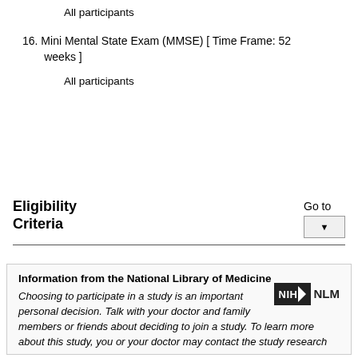All participants
16. Mini Mental State Exam (MMSE) [ Time Frame: 52 weeks ]
All participants
Eligibility Criteria
Go to
Information from the National Library of Medicine
Choosing to participate in a study is an important personal decision. Talk with your doctor and family members or friends about deciding to join a study. To learn more about this study, you or your doctor may contact the study research